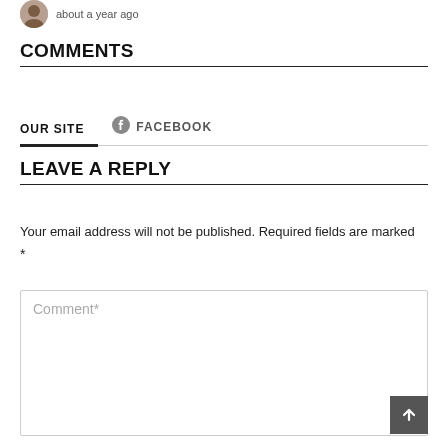about a year ago
COMMENTS
OUR SITE   FACEBOOK
LEAVE A REPLY
Your email address will not be published. Required fields are marked *
Comment*